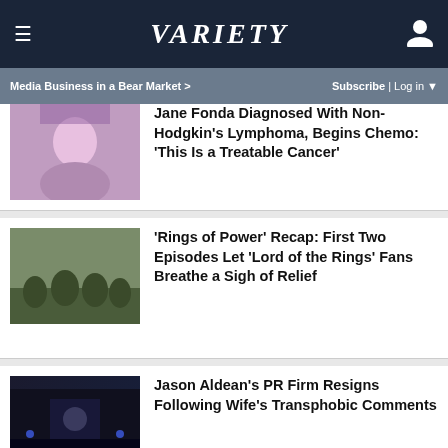VARIETY — Media Business in a Bear Market > | Subscribe | Log in
Jane Fonda Diagnosed With Non-Hodgkin's Lymphoma, Begins Chemo: 'This Is a Treatable Cancer'
'Rings of Power' Recap: First Two Episodes Let 'Lord of the Rings' Fans Breathe a Sigh of Relief
Jason Aldean's PR Firm Resigns Following Wife's Transphobic Comments
Olivia Wilde Wanted Oral Sex and More in 'Don't Worry Darling' Trailer, but MPA Forced Cuts: 'I Was Upset About That'